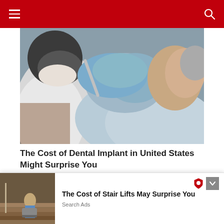Navigation header with hamburger menu and search icon
[Figure (photo): Dentist in blue gloves examining an elderly patient who is reclined in a dental chair. The dentist wears a white coat and mask. Close-up shot showing the dentist's hands working near the patient's mouth.]
The Cost of Dental Implant in United States Might Surprise You
Search Ads
Know More
[Figure (photo): Partial view of a stair lift on a staircase with glass railing.]
[Figure (photo): Small thumbnail image of a person riding a stair lift down carpeted stairs.]
The Cost of Stair Lifts May Surprise You
Search Ads